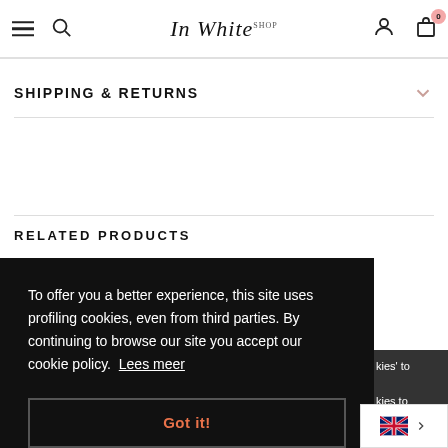In White [shop logo] — navigation header with hamburger, search, user, and cart icons
SHIPPING & RETURNS
RELATED PRODUCTS
To offer you a better experience, this site uses profiling cookies, even from third parties. By continuing to browse our site you accept our cookie policy. Lees meer
Got it!